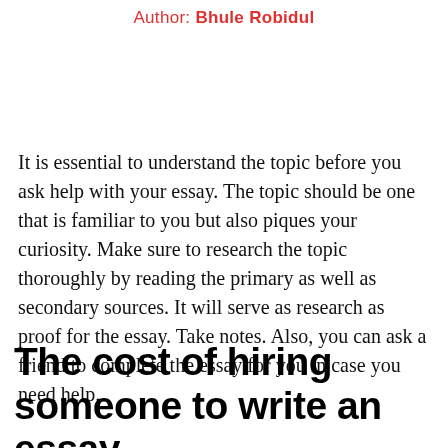Author: Bhule Robidul
It is essential to understand the topic before you ask help with your essay. The topic should be one that is familiar to you but also piques your curiosity. Make sure to research the topic thoroughly by reading the primary as well as secondary sources. It will serve as research as proof for the essay. Take notes. Also, you can ask a friend to complete the essay for you in case you need help.
The cost of hiring someone to write an essay